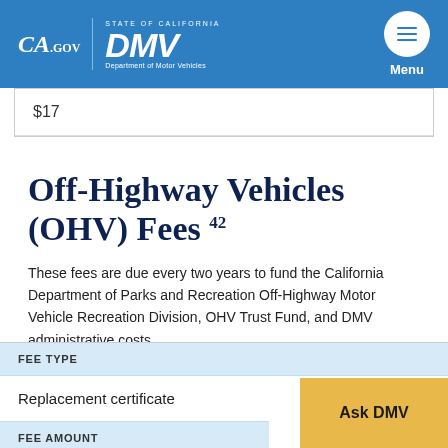CA.GOV | STATE OF CALIFORNIA DMV Department of Motor Vehicles | Menu
|  |
| --- |
| $17 |
Off-Highway Vehicles (OHV) Fees 42
These fees are due every two years to fund the California Department of Parks and Recreation Off-Highway Motor Vehicle Recreation Division, OHV Trust Fund, and DMV administrative costs.
| FEE TYPE |
| --- |
| Replacement certificate |
| FEE AMOUNT |
|  |